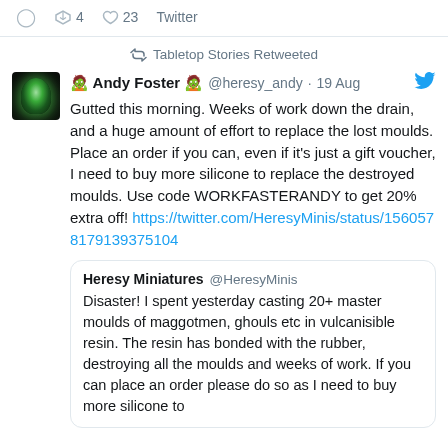4   23   Twitter
Tabletop Stories Retweeted
🧟 Andy Foster 🧟 @heresy_andy · 19 Aug
Gutted this morning. Weeks of work down the drain, and a huge amount of effort to replace the lost moulds. Place an order if you can, even if it's just a gift voucher, I need to buy more silicone to replace the destroyed moulds. Use code WORKFASTERANDY to get 20% extra off! https://twitter.com/HeresyMinis/status/1560578179139375104
Heresy Miniatures @HeresyMinis
Disaster! I spent yesterday casting 20+ master moulds of maggotmen, ghouls etc in vulcanisible resin. The resin has bonded with the rubber, destroying all the moulds and weeks of work. If you can place an order please do so as I need to buy more silicone to